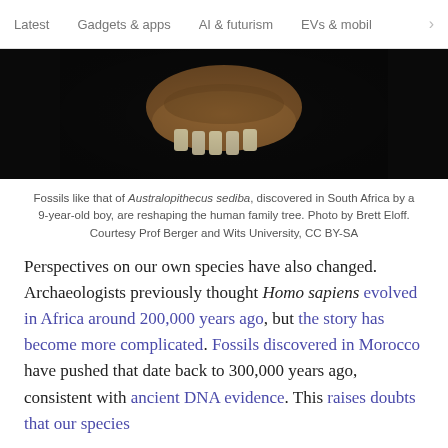Latest   Gadgets & apps   AI & futurism   EVs & mobil >
[Figure (photo): Close-up photograph of a fossil jaw with teeth of Australopithecus sediba against a black background]
Fossils like that of Australopithecus sediba, discovered in South Africa by a 9-year-old boy, are reshaping the human family tree. Photo by Brett Eloff. Courtesy Prof Berger and Wits University, CC BY-SA
Perspectives on our own species have also changed. Archaeologists previously thought Homo sapiens evolved in Africa around 200,000 years ago, but the story has become more complicated. Fossils discovered in Morocco have pushed that date back to 300,000 years ago, consistent with ancient DNA evidence. This raises doubts that our species